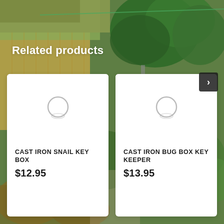[Figure (photo): Garden background photo with thatched wall, bamboo fence, green trees and plants]
Related products
[Figure (photo): Product card for Cast Iron Snail Key Box showing a ring/circle image placeholder]
CAST IRON SNAIL KEY BOX
$12.95
[Figure (photo): Product card for Cast Iron Bug Box Key Keeper showing a ring/circle image placeholder]
CAST IRON BUG BOX KEY KEEPER
$13.95